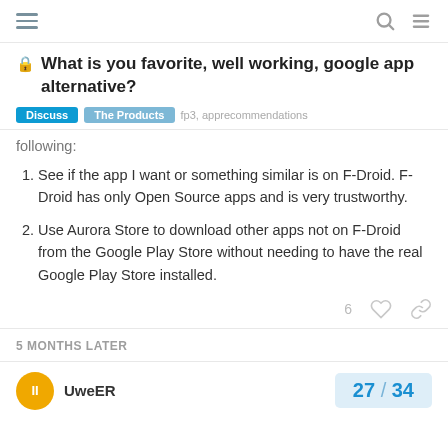What is you favorite, well working, google app alternative?
Discuss  The Products  fp3, apprecommendations
following:
See if the app I want or something similar is on F-Droid. F-Droid has only Open Source apps and is very trustworthy.
Use Aurora Store to download other apps not on F-Droid from the Google Play Store without needing to have the real Google Play Store installed.
6
5 MONTHS LATER
UweER  27 / 34